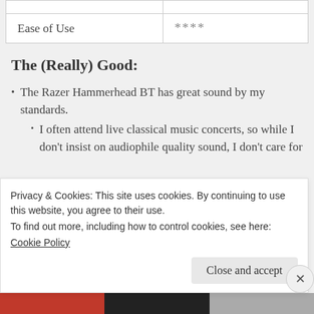|  |  |
| --- | --- |
| Ease of Use | **** |
The (Really) Good:
The Razer Hammerhead BT has great sound by my standards.
I often attend live classical music concerts, so while I don't insist on audiophile quality sound, I don't care for
Privacy & Cookies: This site uses cookies. By continuing to use this website, you agree to their use.
To find out more, including how to control cookies, see here:
Cookie Policy
Close and accept